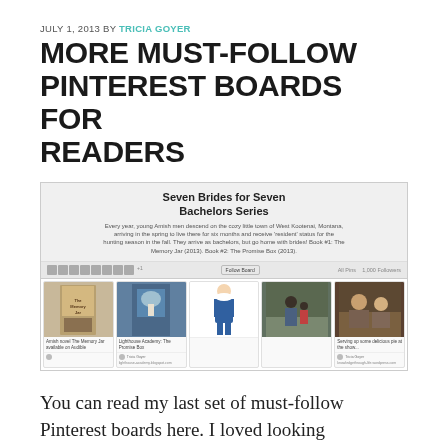JULY 1, 2013 BY TRICIA GOYER
MORE MUST-FOLLOW PINTEREST BOARDS FOR READERS
[Figure (screenshot): Screenshot of a Pinterest board titled 'Seven Brides for Seven Bachelors Series' by Tricia Goyer, showing pins related to the book series including book covers, an Amish illustration, and photos.]
You can read my last set of must-follow Pinterest boards here. I loved looking